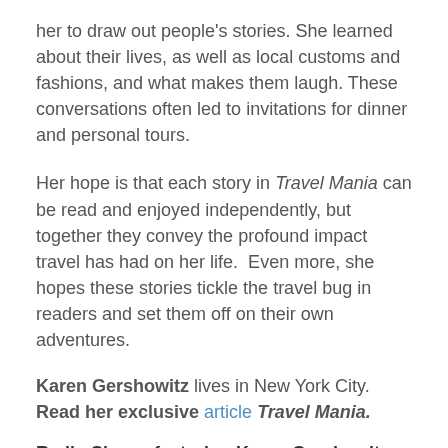her to draw out people's stories. She learned about their lives, as well as local customs and fashions, and what makes them laugh. These conversations often led to invitations for dinner and personal tours.
Her hope is that each story in Travel Mania can be read and enjoyed independently, but together they convey the profound impact travel has had on her life.  Even more, she hopes these stories tickle the travel bug in readers and set them off on their own adventures.
Karen Gershowitz lives in New York City. Read her exclusive article Travel Mania.
Radio Shows featuring Karen Gershowitz